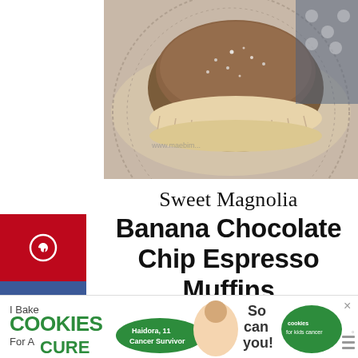[Figure (photo): Close-up photo of a chocolate chip espresso muffin in a paper liner on a decorative plate]
Sweet Magnolia Banana Chocolate Chip Espresso Muffins
[Figure (photo): Dark moody photo of a coffee mug and muffin on a dark blue background]
[Figure (infographic): I Bake COOKIES For A CURE advertisement banner - So can you! - cookies for kids cancer]